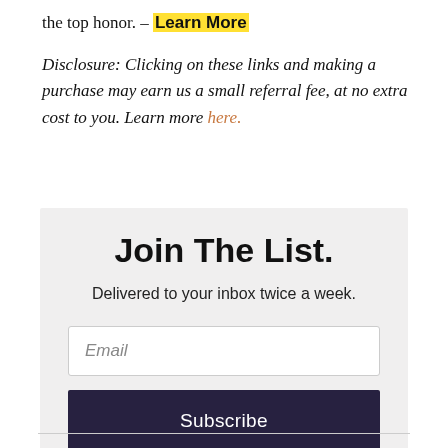the top honor. – Learn More
Disclosure: Clicking on these links and making a purchase may earn us a small referral fee, at no extra cost to you. Learn more here.
Join The List.
Delivered to your inbox twice a week.
Email
Subscribe